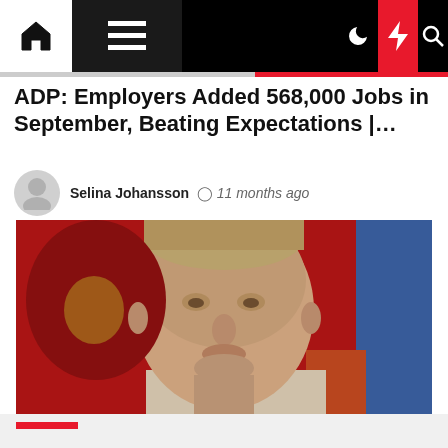Navigation bar with home, menu, moon, bolt, and search icons
ADP: Employers Added 568,000 Jobs in September, Beating Expectations |…
Selina Johansson  11 months ago
[Figure (photo): Close-up photo of a man in a suit against a red background with what appears to be a Russian emblem, and a blue element on the right]